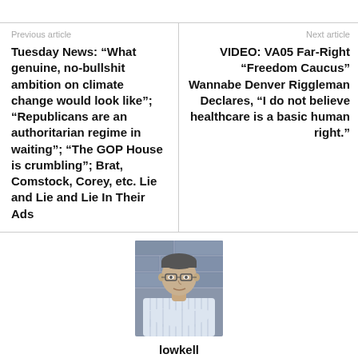Previous article
Tuesday News: “What genuine, no-bullshit ambition on climate change would look like”; “Republicans are an authoritarian regime in waiting”; “The GOP House is crumbling”; Brat, Comstock, Corey, etc. Lie and Lie and Lie In Their Ads
Next article
VIDEO: VA05 Far-Right “Freedom Caucus” Wannabe Denver Riggleman Declares, “I do not believe healthcare is a basic human right.”
[Figure (photo): Headshot photo of a man with glasses wearing a striped shirt, arms crossed, standing in front of a stone wall background.]
lowkell